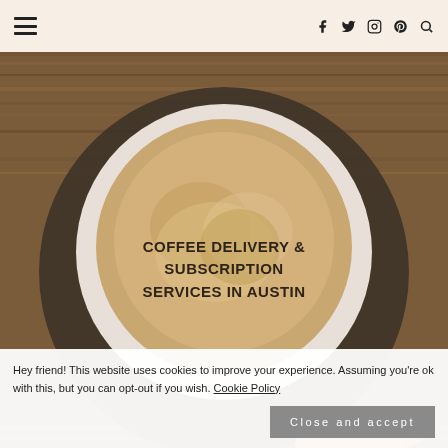≡  [hamburger menu] | [facebook] [twitter] [instagram] [pinterest] [search]
[Figure (photo): Overhead view of a coffee cup on a dark saucer on a wooden table, with text overlay reading 'COFFEE DELIVERY & SUBSCRIPTION SERVICES IN AUSTIN']
Hey friend! This website uses cookies to improve your experience. Assuming you're ok with this, but you can opt-out if you wish. Cookie Policy
Close and accept